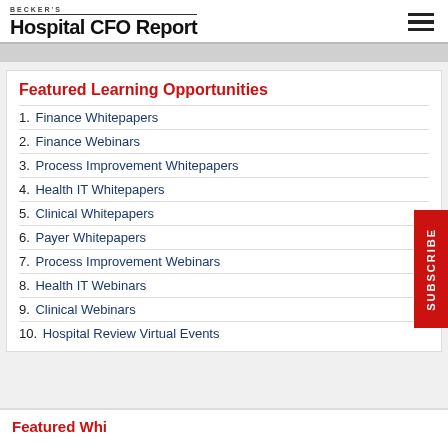BECKER'S Hospital CFO Report
Featured Learning Opportunities
1. Finance Whitepapers
2. Finance Webinars
3. Process Improvement Whitepapers
4. Health IT Whitepapers
5. Clinical Whitepapers
6. Payer Whitepapers
7. Process Improvement Webinars
8. Health IT Webinars
9. Clinical Webinars
10. Hospital Review Virtual Events
Featured Whitepapers